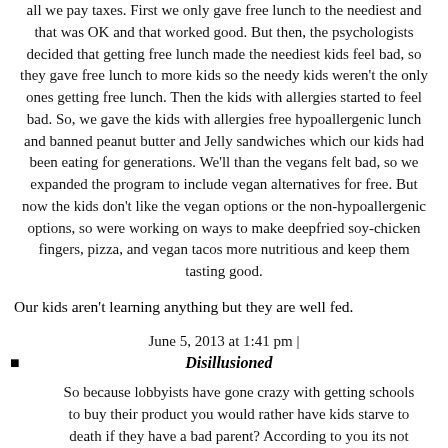all we pay taxes. First we only gave free lunch to the neediest and that was OK and that worked good. But then, the psychologists decided that getting free lunch made the neediest kids feel bad, so they gave free lunch to more kids so the needy kids weren't the only ones getting free lunch. Then the kids with allergies started to feel bad. So, we gave the kids with allergies free hypoallergenic lunch and banned peanut butter and Jelly sandwiches which our kids had been eating for generations. We'll than the vegans felt bad, so we expanded the program to include vegan alternatives for free. But now the kids don't like the vegan options or the non-hypoallergenic options, so were working on ways to make deepfried soy-chicken fingers, pizza, and vegan tacos more nutritious and keep them tasting good.
Our kids aren't learning anything but they are well fed.
June 5, 2013 at 1:41 pm |
Disillusioned
So because lobbyists have gone crazy with getting schools to buy their product you would rather have kids starve to death if they have a bad parent? According to you its not the